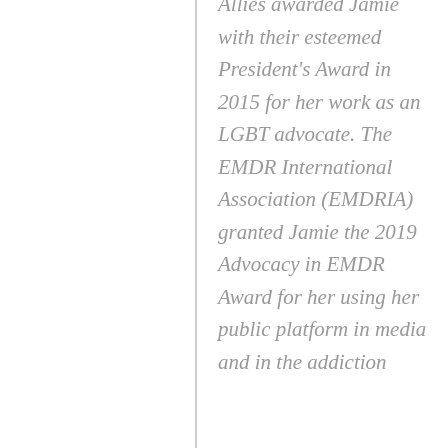Allies awarded Jamie with their esteemed President's Award in 2015 for her work as an LGBT advocate. The EMDR International Association (EMDRIA) granted Jamie the 2019 Advocacy in EMDR Award for her using her public platform in media and in the addiction